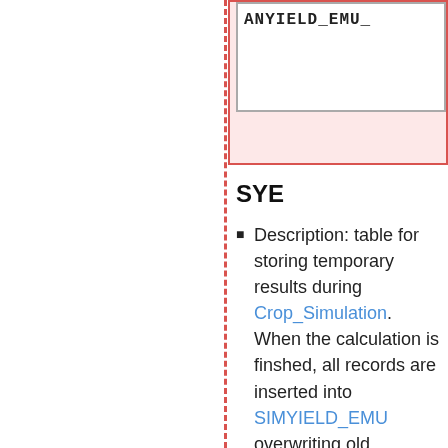[Figure (other): Top-right box with pink/red background containing a white inner box with bold monospace text, part of a database schema diagram. Text partially visible: 'ANYIELD_EMU_...']
SYE
Description: table for storing temporary results during Crop_Simulation. When the calculation is finshed, all records are inserted into SIMYIELD_EMU overwriting old